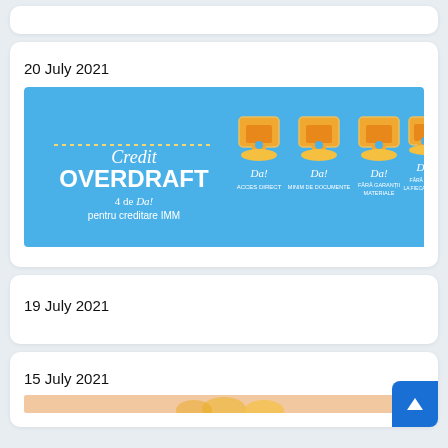20 July 2021
[Figure (illustration): Credit Overdraft promotional banner with blue background showing 4 armchairs with 'Da!' labels for IMM creditare. Text: Credit OVERDRAFT 4 de Da! pentru creditare IMM]
19 July 2021
15 July 2021